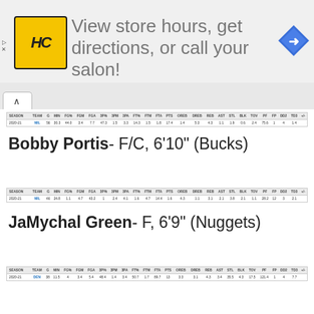[Figure (screenshot): Advertisement banner: HC (Hair Cuttery) logo, text 'View store hours, get directions, or call your salon!', navigation arrow icon]
| SEASON | TEAM | G | MIN | FG% | FGM | FGA | 3P% | 3PM | 3PA | FT% | FTM | FTA | PTS | OREB | DREB | REB | AST | STL | BLK | TOV | PF | FP | DD2 | TD3 | +/- |
| --- | --- | --- | --- | --- | --- | --- | --- | --- | --- | --- | --- | --- | --- | --- | --- | --- | --- | --- | --- | --- | --- | --- | --- | --- | --- |
| 2020-21 |  | 56 | 30.3 | 44.0 | 3.4 | 7.7 | 47.3 | 1.5 | 3.3 | 14.3 | 1.5 | 1.8 | 17.4 | 1.4 | 5.3 | 4.3 | 1.1 | 1.9 | 0.6 | 2.4 | 75.6 | 1 | 4 | 1.4 |
Bobby Portis- F/C, 6'10" (Bucks)
| SEASON | TEAM | G | MIN | FG% | FGM | FGA | 3P% | 3PM | 3PA | FT% | FTM | FTA | PTS | OREB | DREB | REB | AST | STL | BLK | TOV | PF | FP | DD2 | TD3 | PM |
| --- | --- | --- | --- | --- | --- | --- | --- | --- | --- | --- | --- | --- | --- | --- | --- | --- | --- | --- | --- | --- | --- | --- | --- | --- | --- |
| 2020-21 | MIL | 46 | 24.8 | 1.1 | 4.7 | 43.2 | 1 | 2.4 | 4.1 | 1.6 | 4.7 | 14.4 | 1.6 | 4.3 | 1.1 | 3.1 | 2.1 | 3.8 | 2.1 | 1.1 | 28.2 | 12 | 3 | 2.1 |
JaMychal Green- F, 6'9" (Nuggets)
| SEASON | TEAM | G | MIN | FG% | FGM | FGA | 3P% | 3PM | 3PA | FT% | FTM | FTA | PTS | OREB | DREB | REB | AST | STL | BLK | TOV | PF | FP | DD2 | TD3 | PM |
| --- | --- | --- | --- | --- | --- | --- | --- | --- | --- | --- | --- | --- | --- | --- | --- | --- | --- | --- | --- | --- | --- | --- | --- | --- | --- |
| 2020-21 | DEN | 38 | 11.5 | 4 | 3.4 | 5.4 | 48.4 | 1.4 | 3.4 | 50.7 | 1.7 | 89.7 | 13 | 3.3 | 3.1 | 4.3 | 3.4 | 35.5 | 4.3 | 17.5 | 121.4 | 1 | 4 | 7.7 |